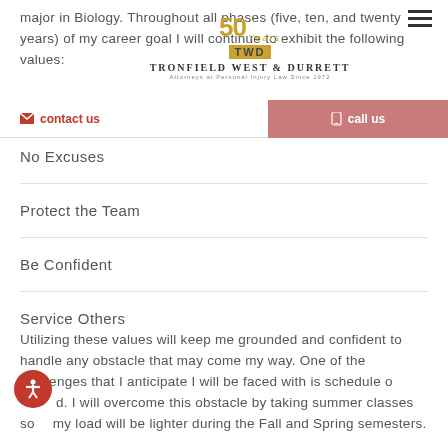major in Biology. Throughout all phases (five, ten, and twenty years) of my career goal I will continue to exhibit the following values:
[Figure (logo): Tronfield West & Durrett law firm logo with 50 Years branding and TWD monogram]
Be Early
[Figure (infographic): Contact bar with 'contact us' email link on left and salmon 'call us' button on right]
No Excuses
Protect the Team
Be Confident
Service Others
Utilizing these values will keep me grounded and confident to handle any obstacle that may come my way. One of the challenges that I anticipate I will be faced with is schedule overload. I will overcome this obstacle by taking summer classes so my load will be lighter during the Fall and Spring semesters.